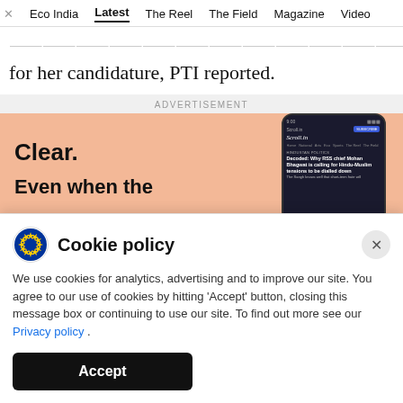Eco India  Latest  The Reel  The Field  Magazine  Video
...and discussed it with colleagues to seek their support for her candidature, PTI reported.
ADVERTISEMENT
[Figure (screenshot): Advertisement banner for a news app (Scroll.in) with peach/salmon background. Left side shows bold text 'Clear.' and 'Even when the'. Right side shows a smartphone mockup with the Scroll app displaying an article: 'Decoded: Why RSS chief Mohan Bhagwat is calling for Hindu-Muslim tensions to be dialled down']
Cookie policy
We use cookies for analytics, advertising and to improve our site. You agree to our use of cookies by hitting 'Accept' button, closing this message box or continuing to use our site. To find out more see our Privacy policy .
Accept